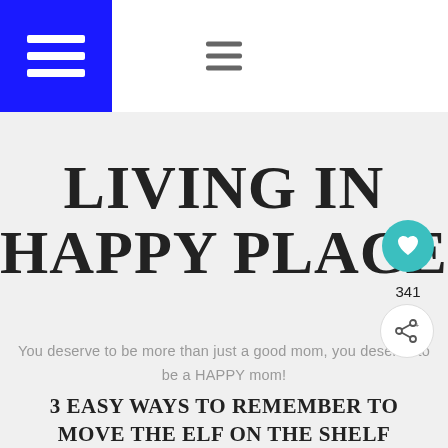[Figure (logo): Blue square icon with three horizontal white lines (hamburger menu icon)]
[Figure (other): Three horizontal dark grey lines hamburger menu icon centered in header]
LIVING IN HAPPY PLACE
You deserve to be more than just a good mom, you deserve to be a HAPPY mom!
[Figure (other): Teal circle button with white heart icon]
341
[Figure (other): White circle share button with share icon and plus sign]
3 EASY WAYS TO REMEMBER TO MOVE THE ELF ON THE SHELF